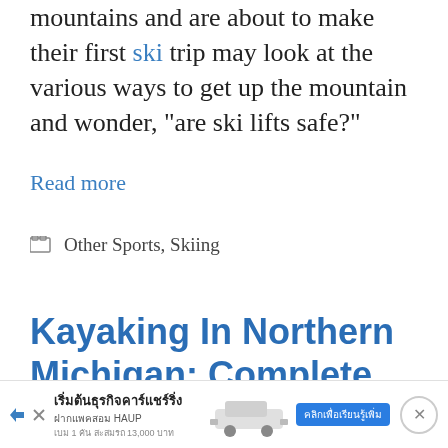mountains and are about to make their first ski trip may look at the various ways to get up the mountain and wonder, “are ski lifts safe?”
Read more
Other Sports, Skiing
Kayaking In Northern Michigan: Complete Guide
Mar
[Figure (other): Thai language advertisement banner for car sharing business (HAUP) with blue button and car image]